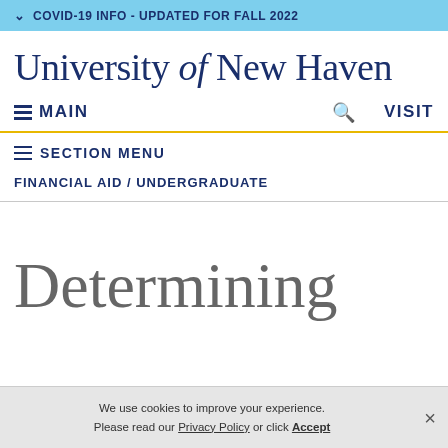COVID-19 INFO - UPDATED FOR FALL 2022
University of New Haven
MAIN  VISIT
SECTION MENU
FINANCIAL AID / UNDERGRADUATE
Determining
We use cookies to improve your experience. Please read our Privacy Policy or click Accept